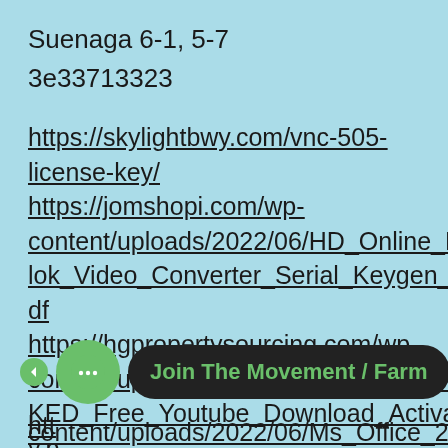Suenaga 6-1, 5-7
3e33713323
https://skylightbwy.com/vnc-505-license-key/
https://jomshopi.com/wp-content/uploads/2022/06/HD_Online_Player_allok_Video_Converter_Serial_Keygen__BEST.pdf
https://hgpropertysourcing.com/wp-content/uploads/2022/06/Dvdvideosoft_CRACKED_Free_Youtube_Download_Activation_Key.p
https://cobeco.be/wp-content/uploads/2022/06/Ms_Office_2007_3-
[Figure (screenshot): Chat widget overlay showing green circular chat button with ellipsis icon and a dark rounded pill label reading 'Join The Movement / Farm' in green text, with a small green left arrow circle button]